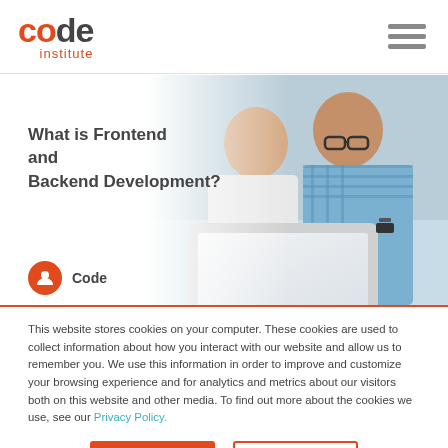Code Institute
[Figure (photo): Two men smiling and looking at a laptop screen together in an office setting. Hero banner for a Code Institute article about frontend and backend development.]
What is Frontend and Backend Development?
Code
This website stores cookies on your computer. These cookies are used to collect information about how you interact with our website and allow us to remember you. We use this information in order to improve and customize your browsing experience and for analytics and metrics about our visitors both on this website and other media. To find out more about the cookies we use, see our Privacy Policy.
Accept
Ignore